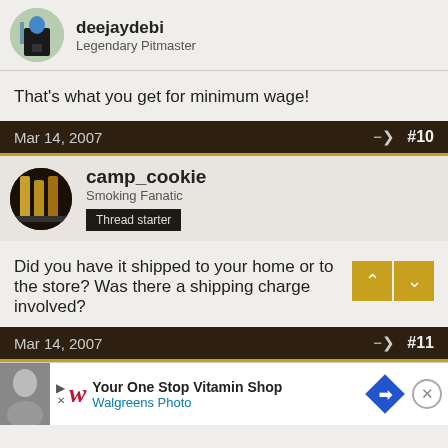deejaydebi - Legendary Pitmaster
That's what you get for minimum wage!
Mar 14, 2007  #10
camp_cookie
Smoking Fanatic
Thread starter
Did you have it shipped to your home or to the store?
Was there a shipping charge involved?
Mar 14, 2007  #11
Your One Stop Vitamin Shop
Walgreens Photo